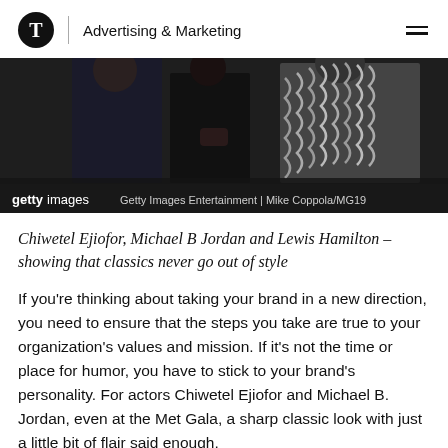Advertising & Marketing
[Figure (photo): Partial view of people in formal attire at an event, with a Getty Images watermark bar at bottom reading: gettyimages / Getty Images Entertainment | Mike Coppola/MG19]
Chiwetel Ejiofor, Michael B Jordan and Lewis Hamilton – showing that classics never go out of style
If you're thinking about taking your brand in a new direction, you need to ensure that the steps you take are true to your organization's values and mission. If it's not the time or place for humor, you have to stick to your brand's personality. For actors Chiwetel Ejiofor and Michael B. Jordan, even at the Met Gala, a sharp classic look with just a little bit of flair said enough,